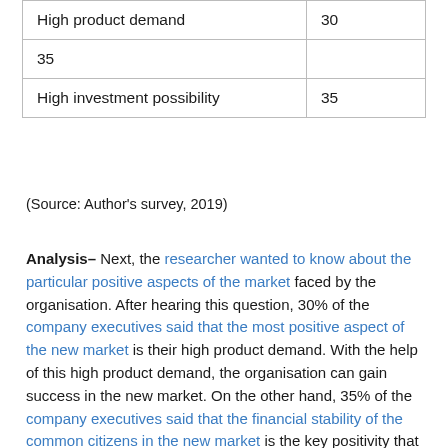| High product demand | 30 |
| 35 |  |
| High investment possibility | 35 |
(Source: Author's survey, 2019)
Analysis– Next, the researcher wanted to know about the particular positive aspects of the market faced by the organisation. After hearing this question, 30% of the company executives said that the most positive aspect of the new market is their high product demand. With the help of this high product demand, the organisation can gain success in the new market. On the other hand, 35% of the company executives said that the financial stability of the common citizens in the new market is the key positivity that they have discovered. At the same